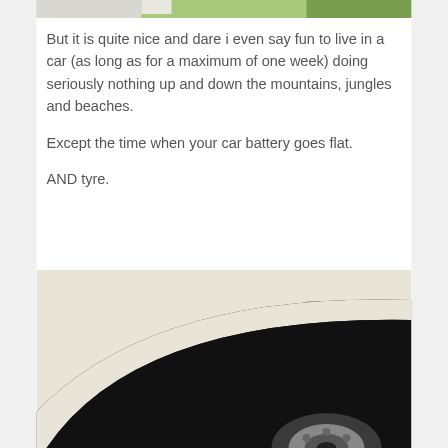[Figure (photo): Top portion of a photo, partially cropped, showing what appears to be a car on grass]
But it is quite nice and dare i even say fun to live in a car (as long as for a maximum of one week) doing seriously nothing up and down the mountains, jungles and beaches.
Except the time when your car battery goes flat.
AND tyre.
[Figure (photo): Close-up photo of a flat black car tyre against a light cream/white background, showing the wheel hub]